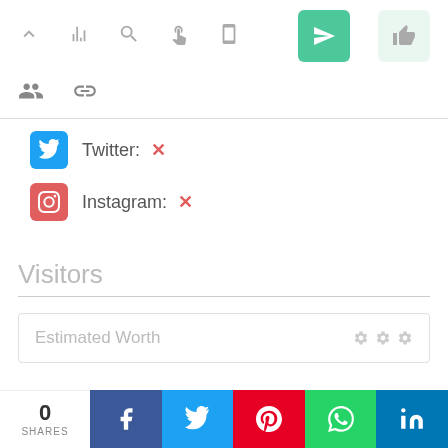[Figure (screenshot): Top navigation toolbar with icons: chevron up, bar chart, search, cursor/hand, mobile, a green send/arrow button, and a light green thumbs-up button]
[Figure (screenshot): Second toolbar row with group/users icon and chain link icon]
Twitter: ✕
Instagram: ✕
Visitors
Estimated Worth
0 SHARES
[Figure (screenshot): Social share bar with Facebook, Twitter, Pinterest, WhatsApp, LinkedIn buttons]